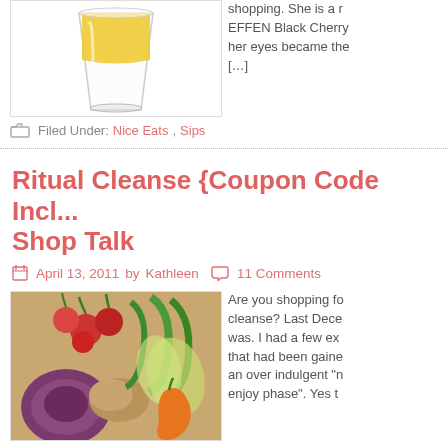[Figure (photo): A glass of yellow/orange juice on a white background]
shopping. She is a [...] EFFEN Black Cherry [...] her eyes became the [...] [...]
Filed Under: Nice Eats, Sips
Ritual Cleanse {Coupon Code Incl... Shop Talk
April 13, 2011 by Kathleen  11 Comments
[Figure (photo): A colorful assortment of fresh vegetables including radishes, bok choy, potato, purple cabbage, and orange pepper on a wooden board]
Are you shopping fo... cleanse? Last Dece... was. I had a few ex... that had been gaine... an over indulgent "n... enjoy phase". Yes t...